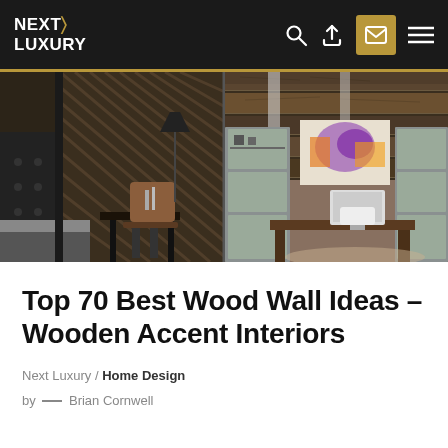NEXT LUXURY
[Figure (photo): Two interior design photos side by side: left shows a bedroom with textured wood slat accent wall and leather chair at a desk; right shows a home office with rustic reclaimed wood plank wall, gray built-in shelving units, a wooden desk, and abstract colorful artwork on the wall.]
Top 70 Best Wood Wall Ideas – Wooden Accent Interiors
Next Luxury / Home Design
by — Brian Cornwell